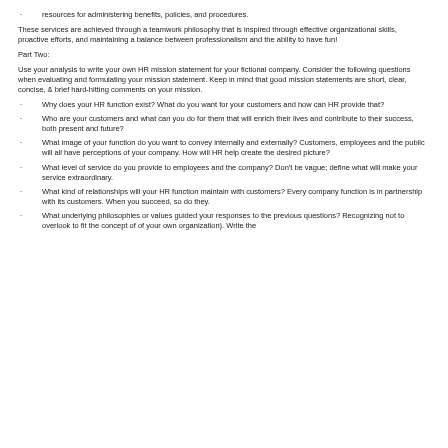resources for administering benefits, policies, and procedures.
These services are achieved through a teamwork philosophy that is inspired through effective organizational skills,  proactive efforts, and maintaining a balance between professionalism and the ability to have fun!
Part Two:
Use your analysis to write your own HR mission statement for your fictional company. Consider the following questions when evaluating and formulating your mission statement. Keep in mind that good mission statements are short, clear, concise, & brief hard-hitting comments on your mission.
Why does your HR function exist? What do you want for your customers and how can HR provide that?
Who are your customers and what can you do for them that will enrich their lives and contribute to their success, both present and future?
What image of your function do you want to convey internally and externally? Customers, employees and the public will all have perceptions of your company. How will HR help create the desired picture?
What level of service do you provide to employees and the company? Don't be vague; define what will make your service extraordinary.
What kind of relationships will your HR function maintain with customers? Every company function is in partnership with its customers. When you succeed, so do they.
What underlying philosophies or values guided your responses to the previous questions? Recognizing not to overlook to fit the concept of of your own organization). Write the